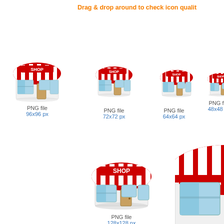Drag & drop around to check icon qualit
[Figure (illustration): Shop icon 96x96px - cartoon storefront with red and white striped awning, SHOP sign, blue windows]
PNG file
96x96 px
[Figure (illustration): Shop icon 72x72px - cartoon storefront with red and white striped awning, SHOP sign, blue windows]
PNG file
72x72 px
[Figure (illustration): Shop icon 64x64px - cartoon storefront with red and white striped awning, SHOP sign, blue windows]
PNG file
64x64 px
[Figure (illustration): Shop icon 48x48px - cartoon storefront with red and white striped awning, SHOP sign, blue windows]
PNG file
48x48 px
[Figure (illustration): Shop icon 128x128px - larger cartoon storefront with red and white striped awning, SHOP sign, blue windows]
PNG file
128x128 px
[Figure (illustration): Shop icon 256x256px (cropped) - very large cartoon storefront with red and white striped awning, blue window visible]